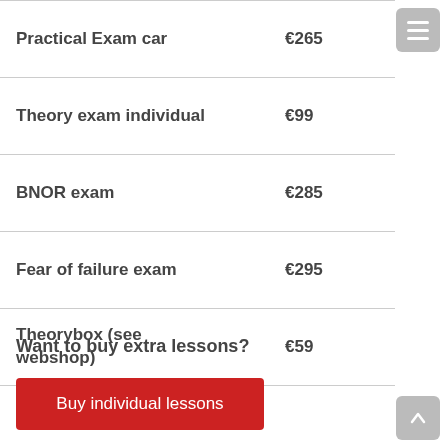| Item | Price |
| --- | --- |
| Practical Exam car | €265 |
| Theory exam individual | €99 |
| BNOR exam | €285 |
| Fear of failure exam | €295 |
| Theorybox (see webshop) | €59 |
Want to buy extra lessons?
Buy individual lessons